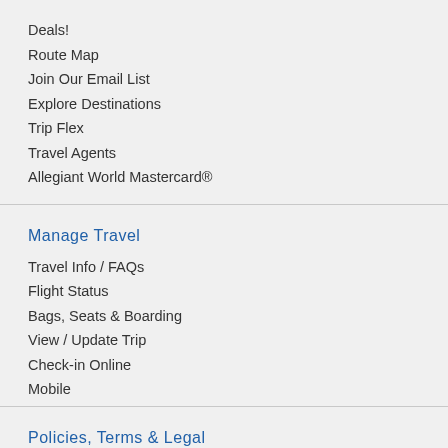Deals!
Route Map
Join Our Email List
Explore Destinations
Trip Flex
Travel Agents
Allegiant World Mastercard®
Manage Travel
Travel Info / FAQs
Flight Status
Bags, Seats & Boarding
View / Update Trip
Check-in Online
Mobile
Policies, Terms & Legal